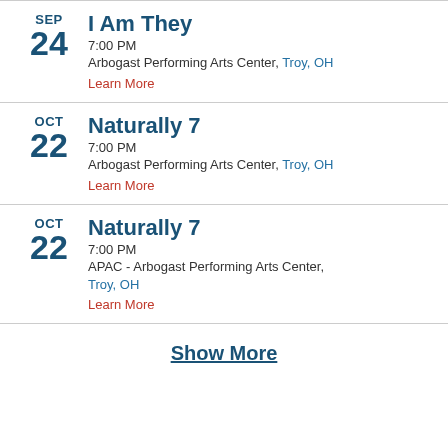SEP 24 — I Am They
7:00 PM
Arbogast Performing Arts Center, Troy, OH
Learn More
OCT 22 — Naturally 7
7:00 PM
Arbogast Performing Arts Center, Troy, OH
Learn More
OCT 22 — Naturally 7
7:00 PM
APAC - Arbogast Performing Arts Center, Troy, OH
Learn More
Show More